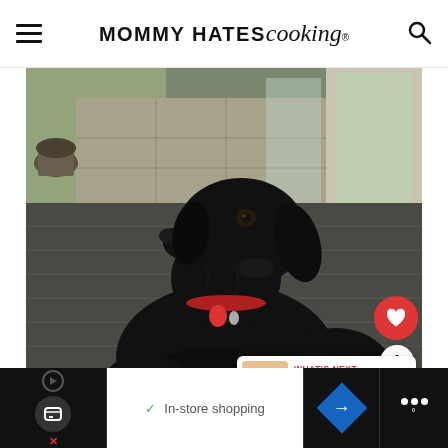MOMMY HATES cooking®
[Figure (photo): A black Labrador Retriever dog sitting on a wooden deck/porch, looking upward. The dog is wearing a red tag collar. In the background is a sliding glass door leading to a patio with stone pavers. There is a blue bowl on the left and a gray planter pot visible.]
WHAT'S NEXT → Strawberry Oat Parfaits
✓ In-store shopping